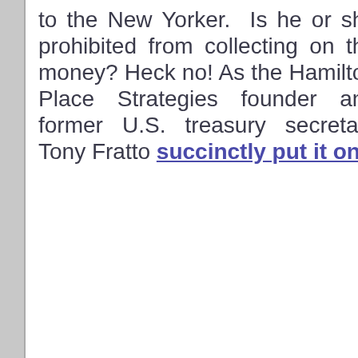to the New Yorker. Is he or she prohibited from collecting on the money? Heck no! As the Hamilton Place Strategies founder and former U.S. treasury secretary Tony Fratto succinctly put it on